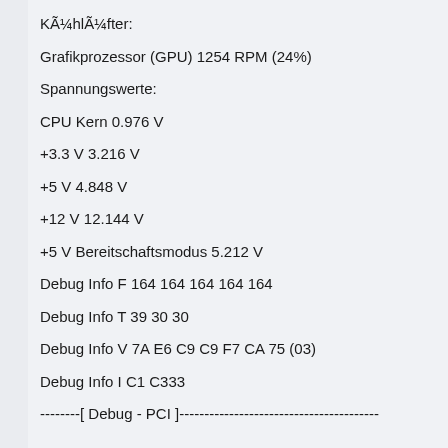KÃ¼hlÃ¼fter:
Grafikprozessor (GPU) 1254 RPM (24%)
Spannungswerte:
CPU Kern 0.976 V
+3.3 V 3.216 V
+5 V 4.848 V
+12 V 12.144 V
+5 V Bereitschaftsmodus 5.212 V
Debug Info F 164 164 164 164 164
Debug Info T 39 30 30
Debug Info V 7A E6 C9 C9 F7 CA 75 (03)
Debug Info I C1 C333
--------[ Debug - PCI ]----------------------------------------